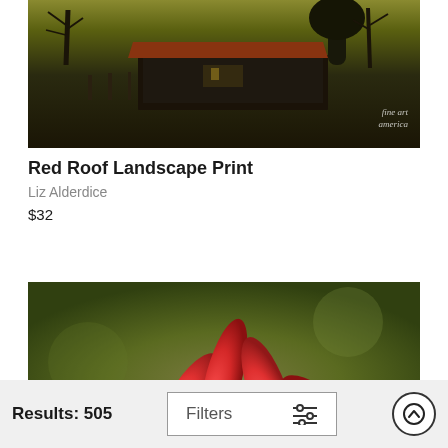[Figure (photo): Painting/photo of a rural landscape with a red-roofed barn surrounded by bare winter trees, dark moody tones with a yellowish-green sky. Fine Art America watermark in bottom right.]
Red Roof Landscape Print
Liz Alderdice
$32
[Figure (photo): Close-up photograph of red/pink flower petals (cyclamen or similar) against a blurred green and brown bokeh background.]
Results: 505   Filters   [scroll to top button]